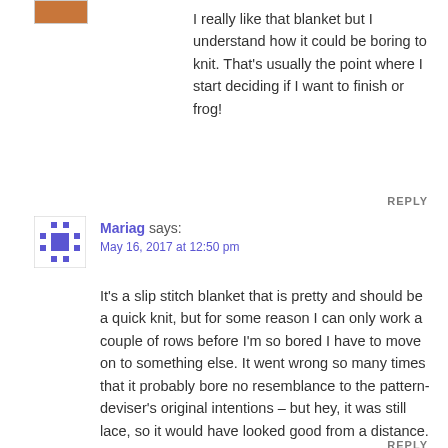I really like that blanket but I understand how it could be boring to knit. That's usually the point where I start deciding if I want to finish or frog!
REPLY
Mariag says:
May 16, 2017 at 12:50 pm
It's a slip stitch blanket that is pretty and should be a quick knit, but for some reason I can only work a couple of rows before I'm so bored I have to move on to something else. It went wrong so many times that it probably bore no resemblance to the pattern-deviser's original intentions – but hey, it was still lace, so it would have looked good from a distance.
REPLY